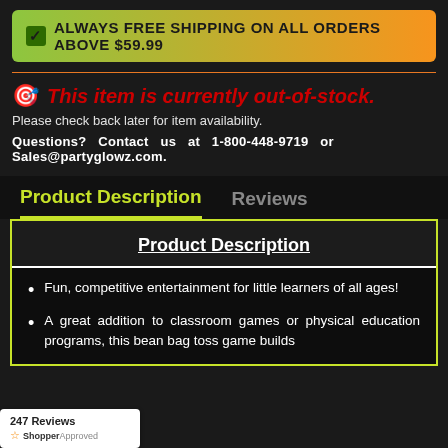✓ ALWAYS FREE SHIPPING ON ALL ORDERS ABOVE $59.99
🎯 This item is currently out-of-stock.
Please check back later for item availability.
Questions? Contact us at 1-800-448-9719 or Sales@partyglowz.com.
Product Description
Reviews
Product Description
Fun, competitive entertainment for little learners of all ages!
A great addition to classroom games or physical education programs, this bean bag toss game builds